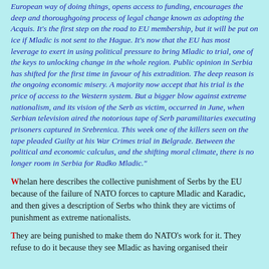European way of doing things, opens access to funding, encourages the deep and thoroughgoing process of legal change known as adopting the Acquis. It's the first step on the road to EU membership, but it will be put on ice if Mladic is not sent to the Hague. It's now that the EU has most leverage to exert in using political pressure to bring Mladic to trial, one of the keys to unlocking change in the whole region. Public opinion in Serbia has shifted for the first time in favour of his extradition. The deep reason is the ongoing economic misery. A majority now accept that his trial is the price of access to the Western system. But a bigger blow against extreme nationalism, and its vision of the Serb as victim, occurred in June, when Serbian television aired the notorious tape of Serb paramilitaries executing prisoners captured in Srebrenica. This week one of the killers seen on the tape pleaded Guilty at his War Crimes trial in Belgrade. Between the political and economic calculus, and the shifting moral climate, there is no longer room in Serbia for Radko Mladic."
Whelan here describes the collective punishment of Serbs by the EU because of the failure of NATO forces to capture Mladic and Karadic, and then gives a description of Serbs who think they are victims of punishment as extreme nationalists.
They are being punished to make them do NATO's work for it. They refuse to do it because they see Mladic as having organised their